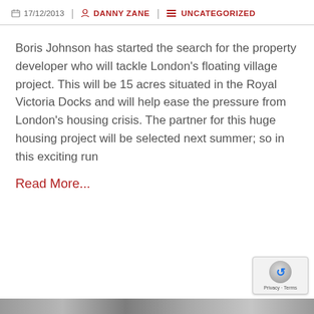17/12/2013 | DANNY ZANE | UNCATEGORIZED
Boris Johnson has started the search for the property developer who will tackle London's floating village project. This will be 15 acres situated in the Royal Victoria Docks and will help ease the pressure from London's housing crisis. The partner for this huge housing project will be selected next summer; so in this exciting run
Read More...